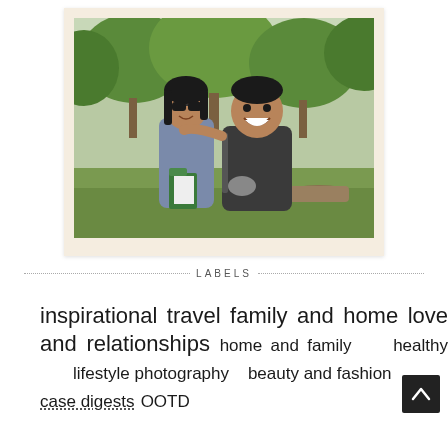[Figure (photo): Polaroid-style photo of two people smiling outdoors in a green park/forest setting. A woman wearing sunglasses on the left and a heavier man on the right with his arm around her. Trees and greenery in background.]
LABELS
inspirational travel family and home love and relationships home and family healthy lifestyle photography beauty and fashion case digests OOTD